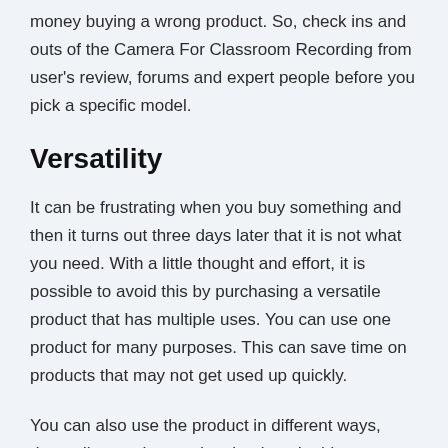money buying a wrong product. So, check ins and outs of the Camera For Classroom Recording from user's review, forums and expert people before you pick a specific model.
Versatility
It can be frustrating when you buy something and then it turns out three days later that it is not what you need. With a little thought and effort, it is possible to avoid this by purchasing a versatile product that has multiple uses. You can use one product for many purposes. This can save time on products that may not get used up quickly.
You can also use the product in different ways, depending on the need at the time. In this way, you